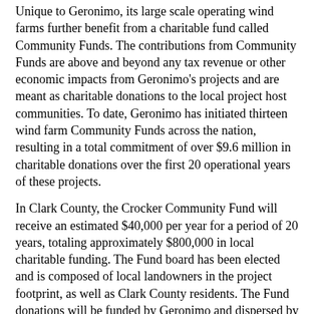Unique to Geronimo, its large scale operating wind farms further benefit from a charitable fund called Community Funds. The contributions from Community Funds are above and beyond any tax revenue or other economic impacts from Geronimo's projects and are meant as charitable donations to the local project host communities. To date, Geronimo has initiated thirteen wind farm Community Funds across the nation, resulting in a total commitment of over $9.6 million in charitable donations over the first 20 operational years of these projects.
In Clark County, the Crocker Community Fund will receive an estimated $40,000 per year for a period of 20 years, totaling approximately $800,000 in local charitable funding. The Fund board has been elected and is composed of local landowners in the project footprint, as well as Clark County residents. The Fund donations will be funded by Geronimo and dispersed by the newly elected board to support charitable causes within and near Crocker.
“As a member of the Crocker Community Fund Board, I am excited to see what we can do for our community over the next 20 years with the funds we will receive from Geronimo Energy,” stated Jody Obermeier, a Crocker Community Fund Board member and landowner within the Crocker Wind Farm. “We are in the set-up stages right now as a board and fund. The Crocker Community Fund is going to be a great asset to our small community, and as a board, we will see that the funds are used to have the greatest